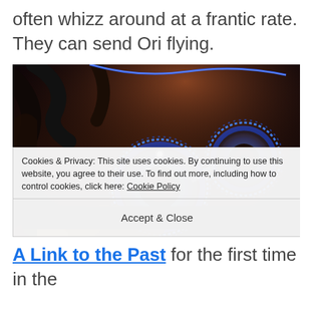often whizz around at a frantic rate. They can send Ori flying.
[Figure (screenshot): Game screenshot showing Ori and large mechanical/creature orbs with glowing blue energy rings in a dark fantasy environment]
Cookies & Privacy: This site uses cookies. By continuing to use this website, you agree to their use. To find out more, including how to control cookies, click here: Cookie Policy
Accept & Close
A Link to the Past for the first time in the